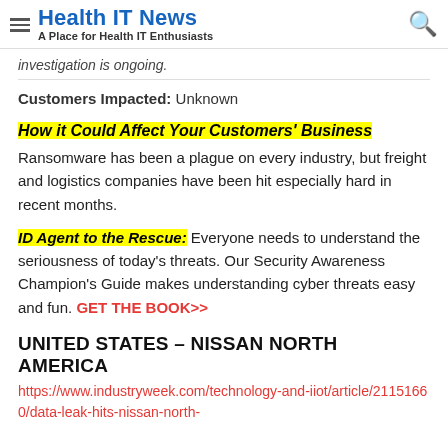Health IT News — A Place for Health IT Enthusiasts
investigation is ongoing.
Customers Impacted: Unknown
How it Could Affect Your Customers' Business
Ransomware has been a plague on every industry, but freight and logistics companies have been hit especially hard in recent months.
ID Agent to the Rescue: Everyone needs to understand the seriousness of today's threats. Our Security Awareness Champion's Guide makes understanding cyber threats easy and fun. GET THE BOOK>>
UNITED STATES – NISSAN NORTH AMERICA
https://www.industryweek.com/technology-and-iiot/article/21151660/data-leak-hits-nissan-north-